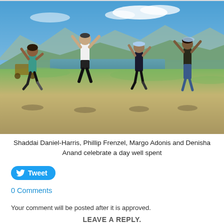[Figure (photo): Four people jumping joyfully outdoors near a lake with mountains in the background on a sunny day. From left: woman in teal top and dark pants, man in white shirt and dark shorts, woman in dark outfit with blue cap, woman in dark top and jeans. All have arms raised.]
Shaddai Daniel-Harris, Phillip Frenzel, Margo Adonis and Denisha Anand celebrate a day well spent
Tweet
0 Comments
Your comment will be posted after it is approved.
LEAVE A REPLY.